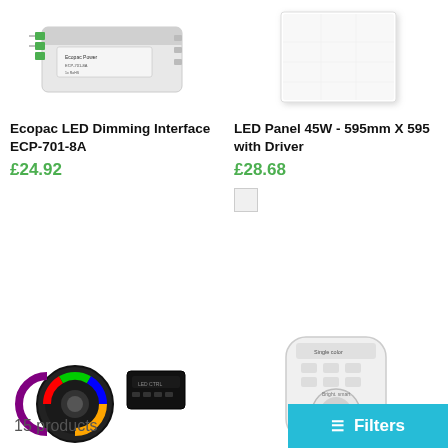[Figure (photo): Ecopac LED Dimming Interface ECP-701-8A product image - white electronic device with green terminal blocks]
Ecopac LED Dimming Interface ECP-701-8A
£24.92
[Figure (photo): LED Panel 45W - 595mm X 595 with Driver product image - white square flat panel]
LED Panel 45W - 595mm X 595 with Driver
£28.68
[Figure (photo): Color swatch - light grey/white square]
[Figure (photo): Bottom row product images - LED controller/dimmer devices]
15 products
Filters